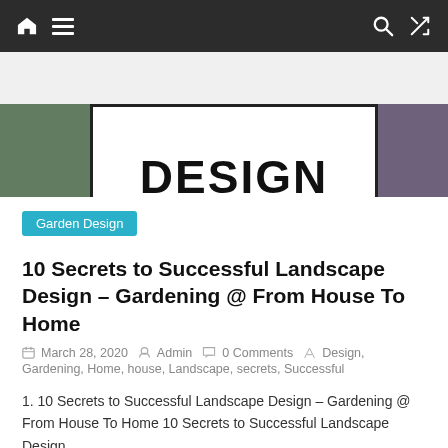Navigation bar with home, menu, search, and shuffle icons
[Figure (screenshot): Website banner showing the word DESIGN in large bold letters centered in a white box with black border, flanked by garden/plant images on left and right]
Garden Design
10 Secrets to Successful Landscape Design – Gardening @ From House To Home
March 28, 2020   Admin   0 Comments   Design, Gardening, Home, house, Landscape, secrets, Successful
1. 10 Secrets to Successful Landscape Design – Gardening @ From House To Home 10 Secrets to Successful Landscape Design
Read more